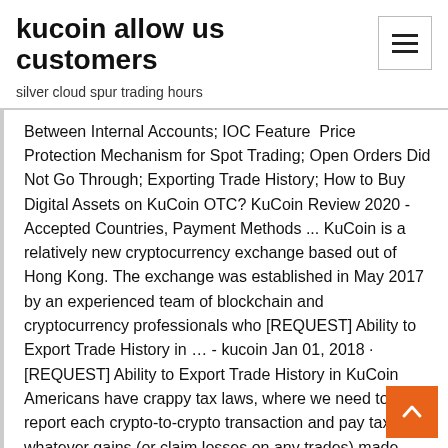kucoin allow us customers
silver cloud spur trading hours
Between Internal Accounts; IOC Feature  Price Protection Mechanism for Spot Trading; Open Orders Did Not Go Through; Exporting Trade History; How to Buy Digital Assets on KuCoin OTC? KuCoin Review 2020 - Accepted Countries, Payment Methods ... KuCoin is a relatively new cryptocurrency exchange based out of Hong Kong. The exchange was established in May 2017 by an experienced team of blockchain and cryptocurrency professionals who [REQUEST] Ability to Export Trade History in … - kucoin Jan 01, 2018 · [REQUEST] Ability to Export Trade History in KuCoin Americans have crappy tax laws, where we need to report each crypto-to-crypto transaction and pay taxes on whatever gains (or claim losses on any trades) made during the year.